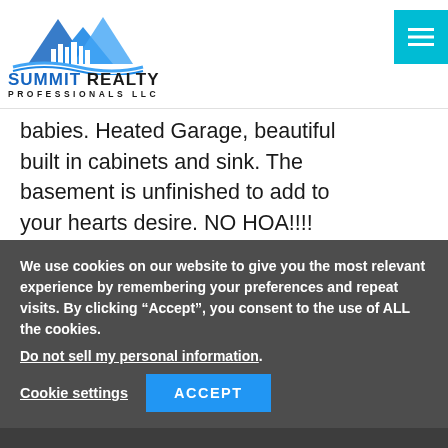[Figure (logo): Summit Realty Professionals LLC logo with mountain and city skyline graphic in blue]
babies. Heated Garage, beautiful built in cabinets and sink. The basement is unfinished to add to your hearts desire. NO HOA!!!! Schedule your personal showing today. Please make appointment with agent or showing service.
We use cookies on our website to give you the most relevant experience by remembering your preferences and repeat visits. By clicking “Accept”, you consent to the use of ALL the cookies.
Do not sell my personal information.
Cookie settings  ACCEPT